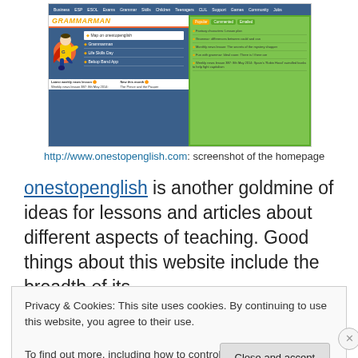[Figure (screenshot): Screenshot of the onestopenglish.com homepage showing the Grammarman section with navigation bar, hero image, menu items, and popular articles sidebar]
http://www.onestopenglish.com: screenshot of the homepage
onestopenglish is another goldmine of ideas for lessons and articles about different aspects of teaching. Good things about this website include the breadth of its
Privacy & Cookies: This site uses cookies. By continuing to use this website, you agree to their use.
To find out more, including how to control cookies, see here: Cookie Policy
Close and accept